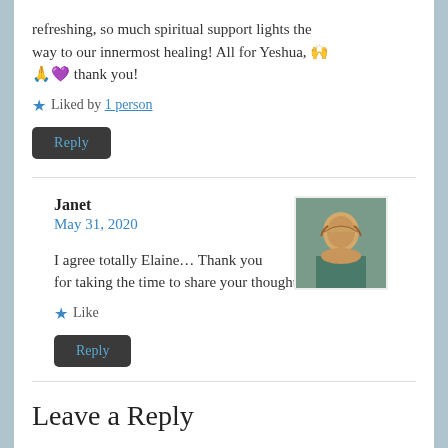refreshing, so much spiritual support lights the way to our innermost healing! All for Yeshua, 🙌 🙏💜 thank you!
★ Liked by 1 person
Reply
Janet
May 31, 2020
I agree totally Elaine… Thank you for taking the time to share your thoughts
★ Like
Reply
Leave a Reply